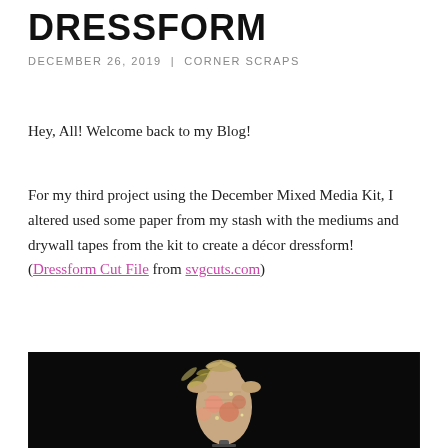DRESSFORM
DECEMBER 26, 2019 | CORNER SCRAPS
Hey, All! Welcome back to my Blog!
For my third project using the December Mixed Media Kit, I altered used some paper from my stash with the mediums and drywall tapes from the kit to create a décor dressform! (Dressform Cut File from svgcuts.com)
[Figure (photo): A decorated dressform craft project displayed against a black background, featuring floral embellishments in peach and gold tones with dragonfly accents.]